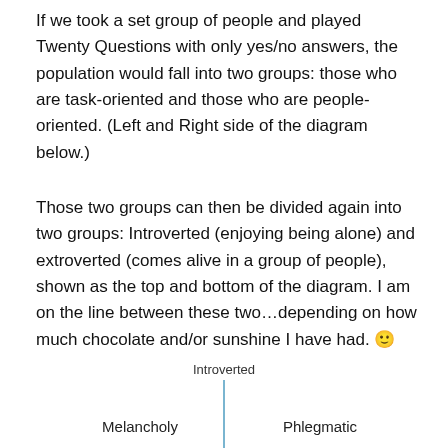If we took a set group of people and played Twenty Questions with only yes/no answers, the population would fall into two groups: those who are task-oriented and those who are people-oriented. (Left and Right side of the diagram below.)
Those two groups can then be divided again into two groups: Introverted (enjoying being alone) and extroverted (comes alive in a group of people), shown as the top and bottom of the diagram. I am on the line between these two…depending on how much chocolate and/or sunshine I have had. 🙂
[Figure (other): Partial four-quadrant diagram showing personality types. Vertical axis label 'Introverted' at top. Left quadrant labeled 'Melancholy', right quadrant labeled 'Phlegmatic'. A vertical blue line runs down from the 'Introverted' label.]